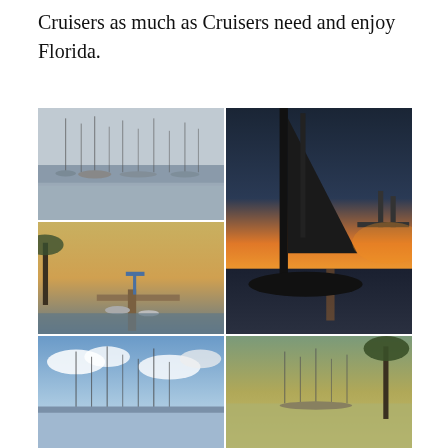Cruisers as much as Cruisers need and enjoy Florida.
[Figure (photo): Harbor with many sailboats on calm gray water under overcast sky]
[Figure (photo): Sailboat mast and bow at dusk with drawbridge and sunset in background]
[Figure (photo): Marina with dock, boats, and palm trees at sunset]
[Figure (photo): Sailboat masts in a marina with clouds in blue sky]
[Figure (photo): Marina with palm trees and reflections on calm water]